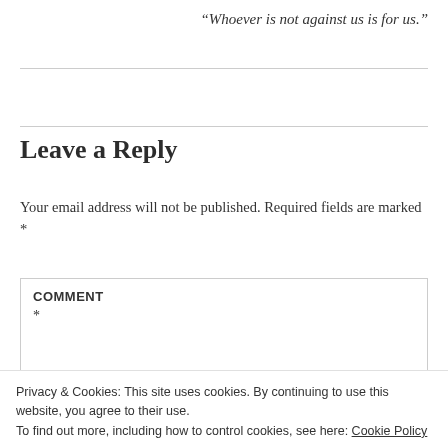“Whoever is not against us is for us.”
Leave a Reply
Your email address will not be published. Required fields are marked *
COMMENT
*
Privacy & Cookies: This site uses cookies. By continuing to use this website, you agree to their use.
To find out more, including how to control cookies, see here: Cookie Policy
Close and accept